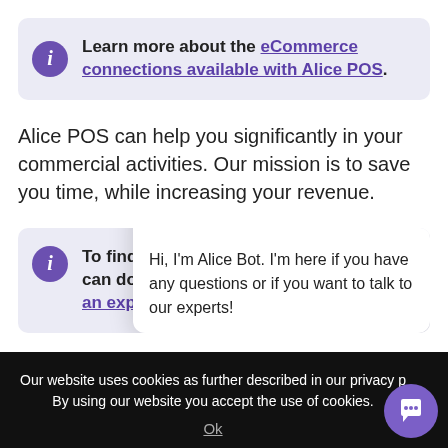Learn more about the eCommerce connections available with Alice POS.
Alice POS can help you significantly in your commercial activities. Our mission is to save you time, while increasing your revenue.
To find out more about what Alice can do for you, schedule a call with an expert.
Hi, I'm Alice Bot. I'm here if you have any questions or if you want to talk to our experts!
Our website uses cookies as further described in our privacy p... By using our website you accept the use of cookies.
Ok